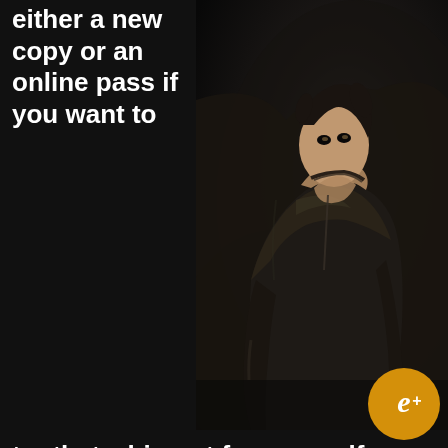either a new copy or an online pass if you want to try that whip out for yourself.
[Figure (photo): Dark stylized image of Catwoman character in a leather outfit, crouching in a dark environment]
When it was revealed that Catwoman would be a playable character in upcoming release Arkham City, we all stopped for a moment to nod our heads in approval. Now, however, Warner Bros. has confirmed that you'll only be able to bounce Gotham's premiere jewel thief around the city if you've purchased either a brand new copy of the game, or an online pass.
In response to questions from Eurogamer about
[Figure (logo): Eurogamer+ logo badge - orange circle with stylized e+ symbol]